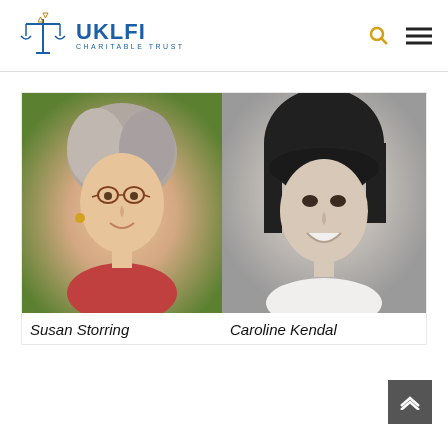[Figure (logo): UKLFI Charitable Trust logo with blue scales of justice icon and blue text]
[Figure (photo): Color photograph of Susan Storring, an older woman with gray hair and glasses, smiling outdoors with green foliage background]
Susan Storring
[Figure (photo): Black and white photograph of Caroline Kendal, a woman with dark hair and bangs, smiling]
Caroline Kendal